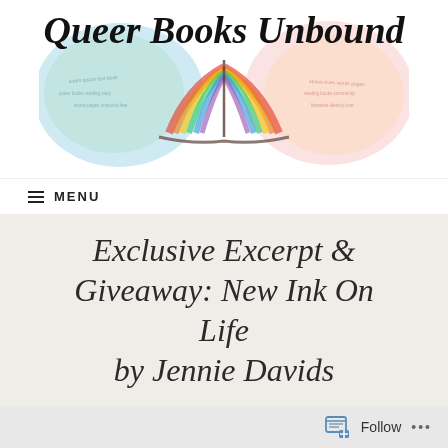[Figure (logo): Queer Books Unbound logo with rainbow watercolor open book and decorative cursive text]
MENU
Exclusive Excerpt & Giveaway: New Ink On Life by Jennie Davids
Follow ...